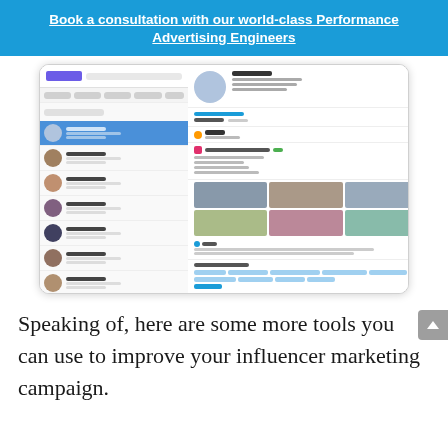Book a consultation with our world-class Performance Advertising Engineers
[Figure (screenshot): Screenshot of an influencer marketing platform (Scope) showing a list of influencers on the left panel and a selected influencer's profile with Instagram statistics, photo grid, bio, and mentions on the right panel.]
Speaking of, here are some more tools you can use to improve your influencer marketing campaign.